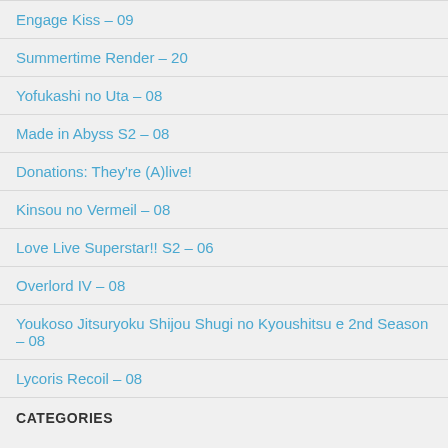Engage Kiss – 09
Summertime Render – 20
Yofukashi no Uta – 08
Made in Abyss S2 – 08
Donations: They're (A)live!
Kinsou no Vermeil – 08
Love Live Superstar!! S2 – 06
Overlord IV – 08
Youkoso Jitsuryoku Shijou Shugi no Kyoushitsu e 2nd Season – 08
Lycoris Recoil – 08
CATEGORIES